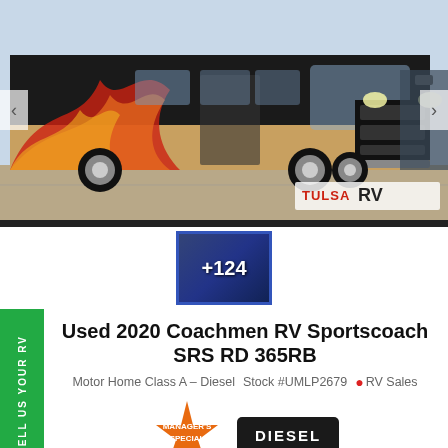[Figure (photo): Exterior photo of a large luxury motorhome (Class A diesel coach) with dark paint and decorative flame graphics, parked in a lot. TULSA RV logo watermark in bottom right corner. Navigation arrows on left and right edges.]
[Figure (photo): Small thumbnail image of RV interior with overlay showing +124 additional photos, bordered in blue.]
Used 2020 Coachmen RV Sportscoach SRS RD 365RB
Motor Home Class A – Diesel   Stock #UMLP2679   RV Sales
[Figure (other): Manager's Special starburst badge in orange and a DIESEL black rectangular badge]
SELL US YOUR RV (vertical green sidebar badge)